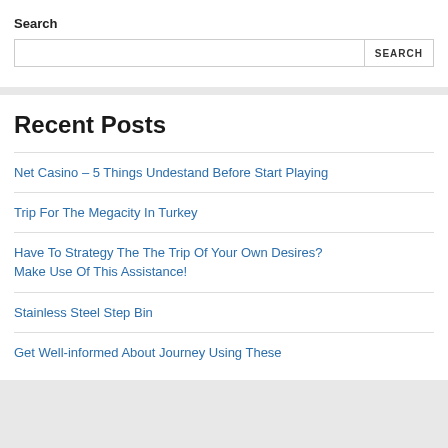Search
Net Casino – 5 Things Undestand Before Start Playing
Trip For The Megacity In Turkey
Have To Strategy The The Trip Of Your Own Desires? Make Use Of This Assistance!
Stainless Steel Step Bin
Get Well-informed About Journey Using These